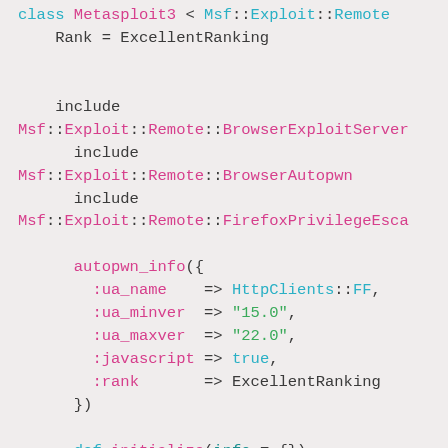[Figure (screenshot): Syntax-highlighted Ruby source code showing a Metasploit exploit module class definition with include statements for BrowserExploitServer, BrowserAutopwn, FirefoxPrivilegeEscalation, autopwn_info hash, and initialize method.]